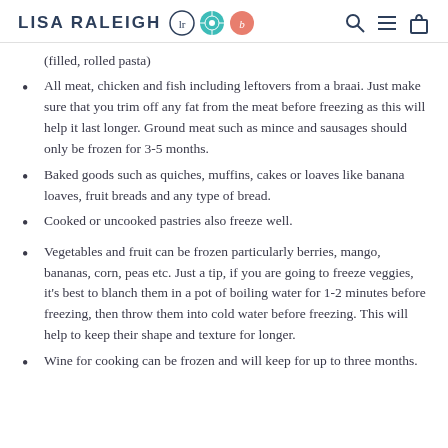LISA RALEIGH [logo icons] [nav icons]
(filled, rolled pasta)
All meat, chicken and fish including leftovers from a braai. Just make sure that you trim off any fat from the meat before freezing as this will help it last longer. Ground meat such as mince and sausages should only be frozen for 3-5 months.
Baked goods such as quiches, muffins, cakes or loaves like banana loaves, fruit breads and any type of bread.
Cooked or uncooked pastries also freeze well.
Vegetables and fruit can be frozen particularly berries, mango, bananas, corn, peas etc. Just a tip, if you are going to freeze veggies, it's best to blanch them in a pot of boiling water for 1-2 minutes before freezing, then throw them into cold water before freezing. This will help to keep their shape and texture for longer.
Wine for cooking can be frozen and will keep for up to three months.